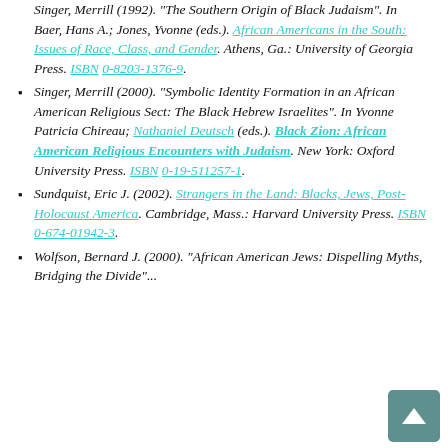Singer, Merrill (1992). "The Southern Origin of Black Judaism". In Baer, Hans A.; Jones, Yvonne (eds.). African Americans in the South: Issues of Race, Class, and Gender. Athens, Ga.: University of Georgia Press. ISBN 0-8203-1376-9.
Singer, Merrill (2000). "Symbolic Identity Formation in an African American Religious Sect: The Black Hebrew Israelites". In Yvonne Patricia Chireau; Nathaniel Deutsch (eds.). Black Zion: African American Religious Encounters with Judaism. New York: Oxford University Press. ISBN 0-19-511257-1.
Sundquist, Eric J. (2002). Strangers in the Land: Blacks, Jews, Post-Holocaust America. Cambridge, Mass.: Harvard University Press. ISBN 0-674-01942-3.
Wolfson, Bernard J. (2000). "African American Jews: Dispelling Myths, Bridging the Divide"...